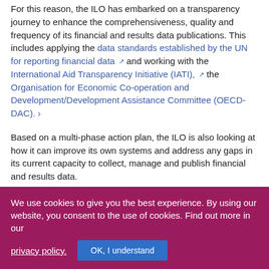For this reason, the ILO has embarked on a transparency journey to enhance the comprehensiveness, quality and frequency of its financial and results data publications. This includes applying the data standards established by the UN for reporting financial data and working with the International Aid Transparency Initiative (IATI), the Organisation for Economic Co-operation and Development/Development Assistance Committee (OECD-DAC). ›
Based on a multi-phase action plan, the ILO is also looking at how it can improve its own systems and address any gaps in its current capacity to collect, manage and publish financial and results data.
We use cookies to give you the best experience. By using our website, you consent to the use of cookies. Find out more in our privacy policy. OK, I understand